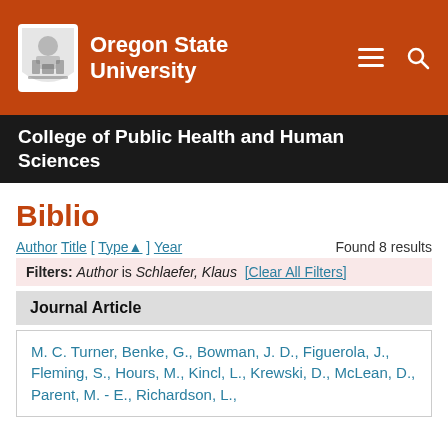Oregon State University
College of Public Health and Human Sciences
Biblio
Author Title [ Type▲ ] Year   Found 8 results
Filters: Author is Schlaefer, Klaus [Clear All Filters]
Journal Article
M. C. Turner, Benke, G., Bowman, J. D., Figuerola, J., Fleming, S., Hours, M., Kincl, L., Krewski, D., McLean, D., Parent, M. - E., Richardson, L.,